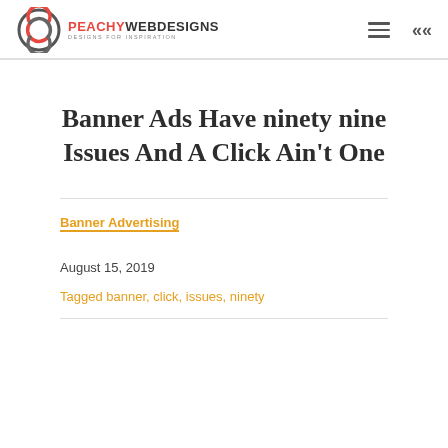PEACHY WEB DESIGNS — DESIGNS FOR INSPIRATION
Banner Ads Have ninety nine Issues And A Click Ain't One
Banner Advertising
August 15, 2019
Tagged banner, click, issues, ninety